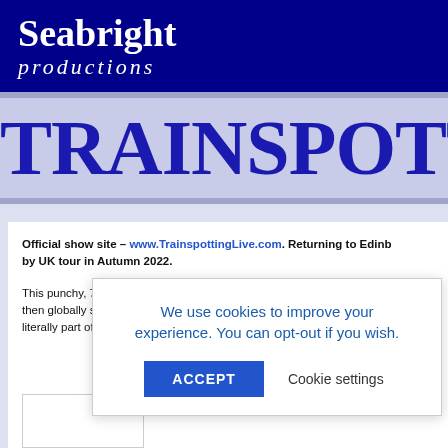Seabright productions
TRAINSPOTTING L
Official show site – www.TrainspottingLive.com. Returning to Edinburgh followed by UK tour in Autumn 2022.
This punchy, 75 mi[nute show]... [intro] then globally succe[ssful]... [produ]ction... literally part of the s[how]... [nd]
We use cookies to improve your experience. You can opt-out if you wish. ACCEPT  Cookie settings